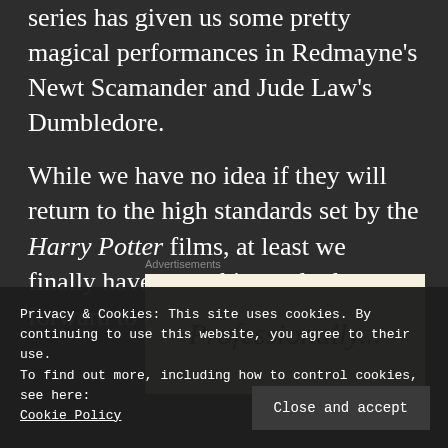series has given us some pretty magical performances in Redmayne's Newt Scamander and Jude Law's Dumbledore.
While we have no idea if they will return to the high standards set by the Harry Potter films, at least we finally have something to look forward to again.
Advertisements
[Figure (other): Advertisement box with text reading 'Professionally...' on a cream/beige background]
Privacy & Cookies: This site uses cookies. By continuing to use this website, you agree to their use.
To find out more, including how to control cookies, see here:
Cookie Policy
Close and accept